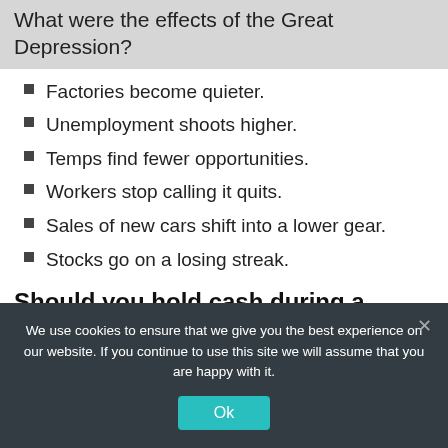What were the effects of the Great Depression?
Factories become quieter.
Unemployment shoots higher.
Temps find fewer opportunities.
Workers stop calling it quits.
Sales of new cars shift into a lower gear.
Stocks go on a losing streak.
Should you hold cash during a recession?
Still, cash remains one of your best investments in a
We use cookies to ensure that we give you the best experience on our website. If you continue to use this site we will assume that you are happy with it.